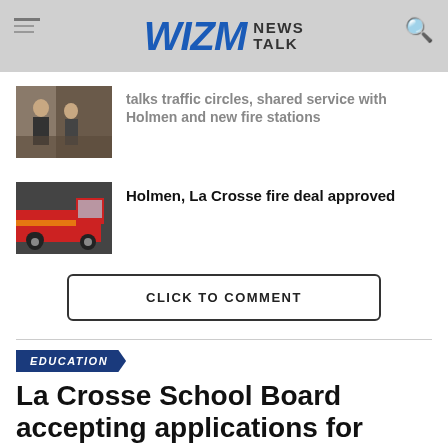WIZM NEWS TALK
talks traffic circles, shared service with Holmen and new fire stations
Holmen, La Crosse fire deal approved
CLICK TO COMMENT
EDUCATION
La Crosse School Board accepting applications for vacant position